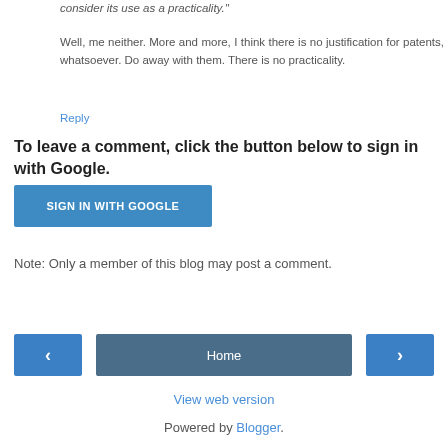consider its use as a practicality."
Well, me neither. More and more, I think there is no justification for patents, whatsoever. Do away with them. There is no practicality.
Reply
To leave a comment, click the button below to sign in with Google.
[Figure (other): SIGN IN WITH GOOGLE button]
Note: Only a member of this blog may post a comment.
[Figure (other): Navigation buttons: left arrow, Home, right arrow]
View web version
Powered by Blogger.